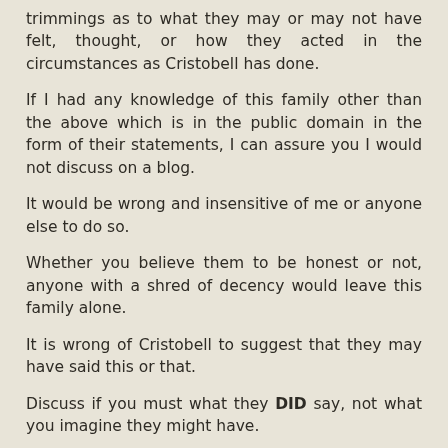trimmings as to what they may or may not have felt, thought, or how they acted in the circumstances as Cristobell has done.
If I had any knowledge of this family other than the above which is in the public domain in the form of their statements, I can assure you I would not discuss on a blog.
It would be wrong and insensitive of me or anyone else to do so.
Whether you believe them to be honest or not, anyone with a shred of decency would leave this family alone.
It is wrong of Cristobell to suggest that they may have said this or that.
Discuss if you must what they DID say, not what you imagine they might have.